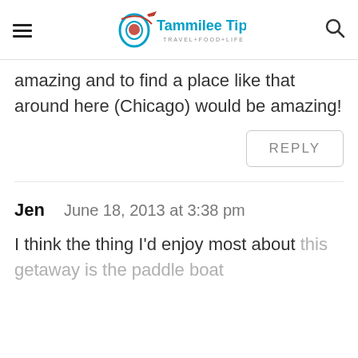Tammilee Tips TRAVEL+FOOD+LIFE
amazing and to find a place like that around here (Chicago) would be amazing!
REPLY
Jen   June 18, 2013 at 3:38 pm
I think the thing I'd enjoy most about this getaway is the paddle boat